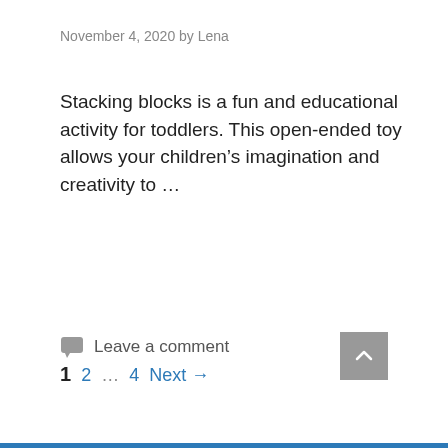November 4, 2020 by Lena
Stacking blocks is a fun and educational activity for toddlers. This open-ended toy allows your children’s imagination and creativity to …
Read more
Leave a comment
1  2  …  4  Next →